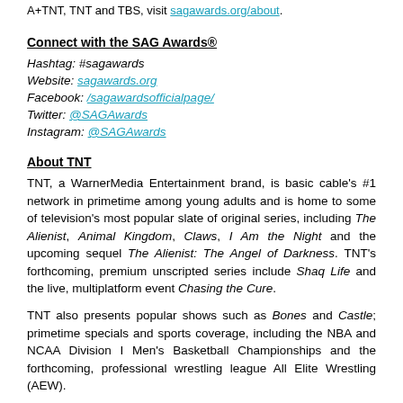A+TNT, TNT and TBS, visit sagawards.org/about.
Connect with the SAG Awards®
Hashtag: #sagawards
Website: sagawards.org
Facebook: /sagawardsofficialpage/
Twitter: @SAGAwards
Instagram: @SAGAwards
About TNT
TNT, a WarnerMedia Entertainment brand, is basic cable's #1 network in primetime among young adults and is home to some of television's most popular slate of original series, including The Alienist, Animal Kingdom, Claws, I Am the Night and the upcoming sequel The Alienist: The Angel of Darkness. TNT's forthcoming, premium unscripted series include Shaq Life and the live, multiplatform event Chasing the Cure.
TNT also presents popular shows such as Bones and Castle; primetime specials and sports coverage, including the NBA and NCAA Division I Men's Basketball Championships and the forthcoming, professional wrestling league All Elite Wrestling (AEW).